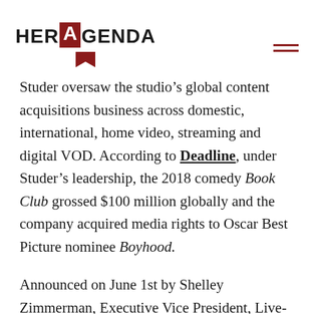HER AGENDA
Studer oversaw the studio’s global content acquisitions business across domestic, international, home video, streaming and digital VOD. According to Deadline, under Studer’s leadership, the 2018 comedy Book Club grossed $100 million globally and the company acquired media rights to Oscar Best Picture nominee Boyhood.
Announced on June 1st by Shelley Zimmerman, Executive Vice President, Live-Action Studio, Awesomeness and Nickelodeon, this news is of